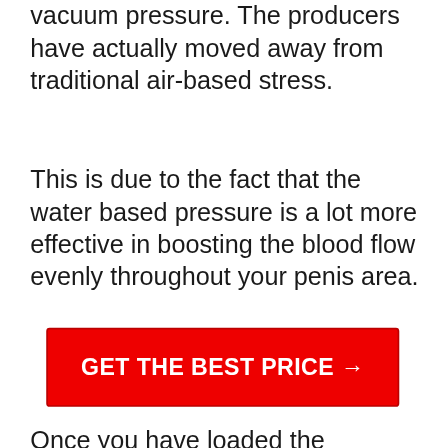vacuum pressure. The producers have actually moved away from traditional air-based stress.
This is due to the fact that the water based pressure is a lot more effective in boosting the blood flow evenly throughout your penis area.
[Figure (other): Red call-to-action button with white bold text reading 'GET THE BEST PRICE →']
Once you have loaded the cyndrical tube with warm water and also put your penis inside the cyndrical tube. You would have the ability to adjust the stress utilizing the handball that has actually been connected to